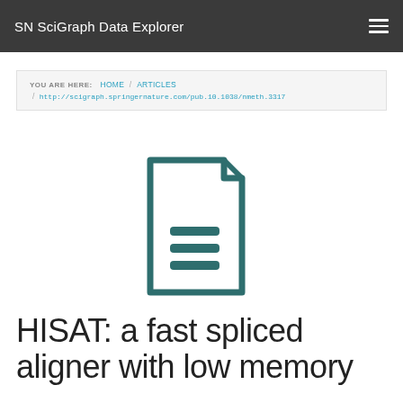SN SciGraph Data Explorer
YOU ARE HERE: HOME / ARTICLES / http://scigraph.springernature.com/pub.10.1038/nmeth.3317
[Figure (illustration): Document/article icon — a stylized page outline with folded top-right corner and three horizontal text lines, rendered in dark teal color]
HISAT: a fast spliced aligner with low memory